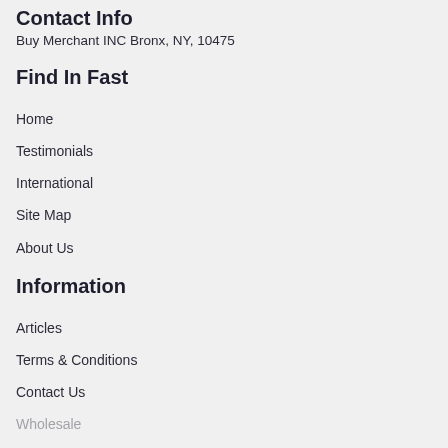Contact Info
Buy Merchant INC Bronx, NY, 10475
Find In Fast
Home
Testimonials
International
Site Map
About Us
Information
Articles
Terms & Conditions
Contact Us
Wholesale